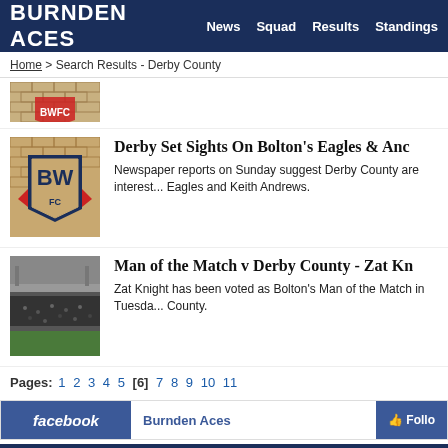BURNDEN ACES  News  Squad  Results  Standings
Home > Search Results - Derby County
[Figure (photo): Partial view of a red and white club crest/badge on brick wall]
Derby Set Sights On Bolton's Eagles & Anc
Newspaper reports on Sunday suggest Derby County are interest... Eagles and Keith Andrews.
[Figure (photo): Black and white photo of a football stadium with crowd]
Man of the Match v Derby County - Zat Kn
Zat Knight has been voted as Bolton's Man of the Match in Tuesda... County.
Pages: 1 2 3 4 5 [6] 7 8 9 10 11
facebook  Burnden Aces  Follow